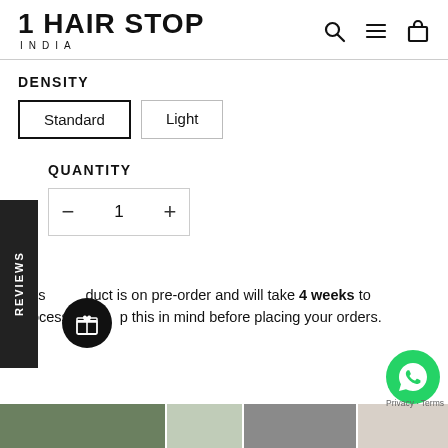1 HAIR STOP INDIA
DENSITY
Standard   Light
QUANTITY
- 1 +
REVIEWS
This product is on pre-order and will take 4 weeks to process. Please keep this in mind before placing your orders.